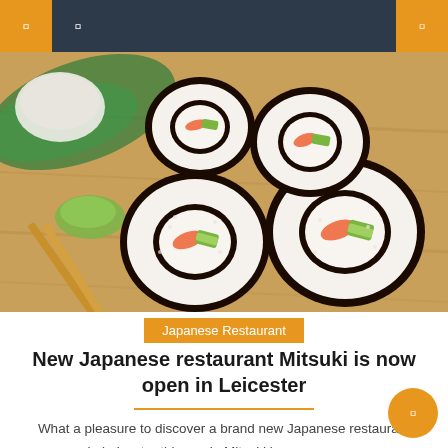Navigation bar with menu icons and search
[Figure (photo): Close-up photo of sushi rolls (maki) with shrimp and avocado on a wooden cutting board with chopsticks and wasabi]
Japanese Restaurant
New Japanese restaurant Mitsuki is now open in Leicester
What a pleasure to discover a brand new Japanese restaurant in Leicester this week. Mitsuki is now open on